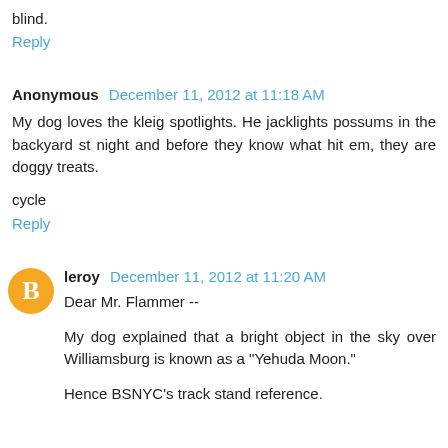blind.
Reply
Anonymous December 11, 2012 at 11:18 AM
My dog loves the kleig spotlights. He jacklights possums in the backyard st night and before they know what hit em, they are doggy treats.
cycle
Reply
leroy December 11, 2012 at 11:20 AM
Dear Mr. Flammer --
My dog explained that a bright object in the sky over Williamsburg is known as a "Yehuda Moon."
Hence BSNYC's track stand reference.